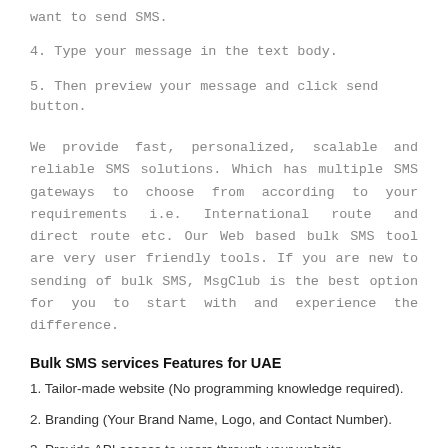want to send SMS.
4. Type your message in the text body.
5. Then preview your message and click send button.
We provide fast, personalized, scalable and reliable SMS solutions. Which has multiple SMS gateways to choose from according to your requirements i.e. International route and direct route etc. Our Web based bulk SMS tool are very user friendly tools. If you are new to sending of bulk SMS, MsgClub is the best option for you to start with and experience the difference.
Bulk SMS services Features for UAE
1. Tailor-made website (No programming knowledge required).
2. Branding (Your Brand Name, Logo, and Contact Number).
3. Provide API access to users through your website.